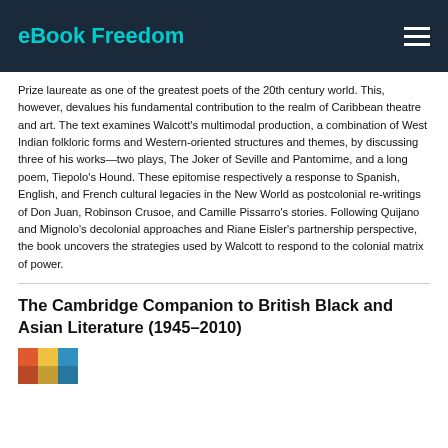eBook Freedom
Prize laureate as one of the greatest poets of the 20th century world. This, however, devalues his fundamental contribution to the realm of Caribbean theatre and art. The text examines Walcott's multimodal production, a combination of West Indian folkloric forms and Western-oriented structures and themes, by discussing three of his works—two plays, The Joker of Seville and Pantomime, and a long poem, Tiepolo's Hound. These epitomise respectively a response to Spanish, English, and French cultural legacies in the New World as postcolonial re-writings of Don Juan, Robinson Crusoe, and Camille Pissarro's stories. Following Quijano and Mignolo's decolonial approaches and Riane Eisler's partnership perspective, the book uncovers the strategies used by Walcott to respond to the colonial matrix of power.
The Cambridge Companion to British Black and Asian Literature (1945–2010)